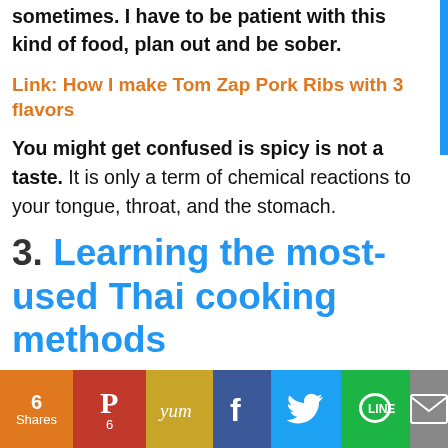sometimes. I have to be patient with this kind of food, plan out and be sober.
Link: How I make Tom Zap Pork Ribs with 3 flavors
You might get confused is spicy is not a taste. It is only a term of chemical reactions to your tongue, throat, and the stomach.
3. Learning the most-used Thai cooking methods
[Figure (photo): Photo strip of Thai cooking, partially visible]
Privacy & Cookies: This site uses cookies. By continuing to use this website, you agree to their use. To find out more, including how to control cookies, see here: Cookie Policy
6 Shares | Pinterest 6 | Yummly | Facebook | Twitter | LINE | Email